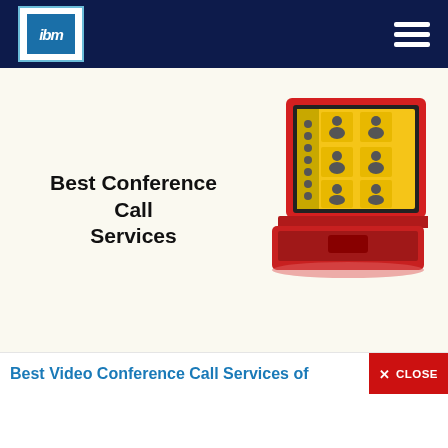ibm logo and navigation header
[Figure (illustration): Illustrated banner showing a red laptop with a yellow screen displaying a video conference grid of 6 person icons in 2 columns of 3 rows, with sidebar panel on left of screen]
Best Conference Call Services
Best Video Conference Call Services of
[Figure (screenshot): Red CLOSE button with X icon in upper right corner]